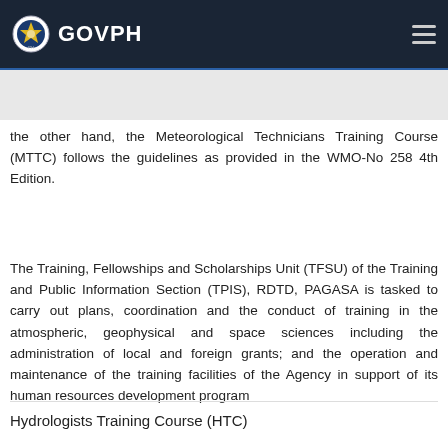GOVPH
the other hand, the Meteorological Technicians Training Course (MTTC) follows the guidelines as provided in the WMO-No 258 4th Edition.
The Training, Fellowships and Scholarships Unit (TFSU) of the Training and Public Information Section (TPIS), RDTD, PAGASA is tasked to carry out plans, coordination and the conduct of training in the atmospheric, geophysical and space sciences including the administration of local and foreign grants; and the operation and maintenance of the training facilities of the Agency in support of its human resources development program
Hydrologists Training Course (HTC)